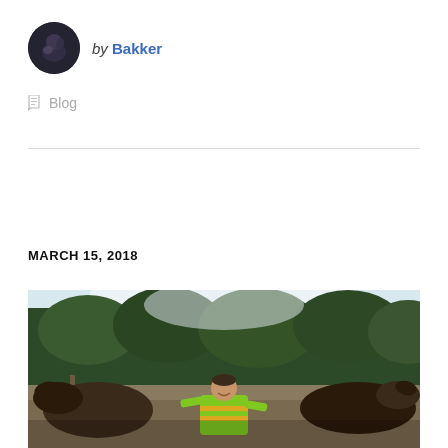[Figure (photo): Circular avatar photo of a person, dark background]
by Bakker
Blog
MARCH 15, 2018
[Figure (photo): Outdoor photo of a person wearing a bright green/yellow safety vest standing surrounded by horses with trees in the background]